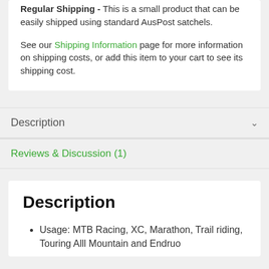Regular Shipping - This is a small product that can be easily shipped using standard AusPost satchels.

See our Shipping Information page for more information on shipping costs, or add this item to your cart to see its shipping cost.
Description
Reviews & Discussion (1)
Description
Usage: MTB Racing, XC, Marathon, Trail riding, Touring Alll Mountain and Endruo